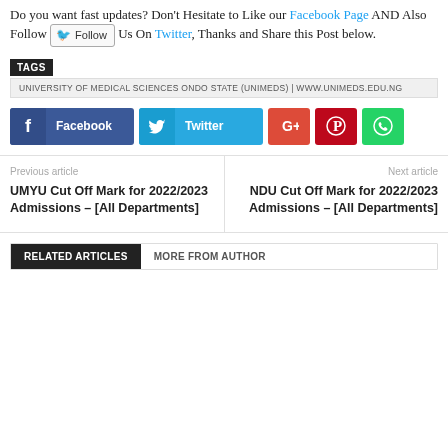Do you want fast updates? Don't Hesitate to Like our Facebook Page AND Also Follow Us On Twitter, Thanks and Share this Post below.
TAGS
UNIVERSITY OF MEDICAL SCIENCES ONDO STATE (UNIMEDS) | WWW.UNIMEDS.EDU.NG
[Figure (other): Social media share buttons: Facebook, Twitter, Google+, Pinterest, WhatsApp]
Previous article
UMYU Cut Off Mark for 2022/2023 Admissions – [All Departments]
Next article
NDU Cut Off Mark for 2022/2023 Admissions – [All Departments]
RELATED ARTICLES  MORE FROM AUTHOR